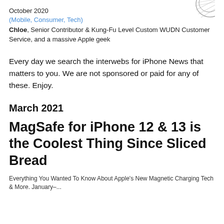[Figure (illustration): Partially visible circular logo or illustration in top right corner]
October 2020
(Mobile, Consumer, Tech)
Chloe, Senior Contributor & Kung-Fu Level Custom WUDN Customer Service, and a massive Apple geek
Every day we search the interwebs for iPhone News that matters to you. We are not sponsored or paid for any of these. Enjoy.
March 2021
MagSafe for iPhone 12 & 13 is the Coolest Thing Since Sliced Bread
Everything You Wanted To Know About Apple's New Magnetic Charging Tech & More. January–...